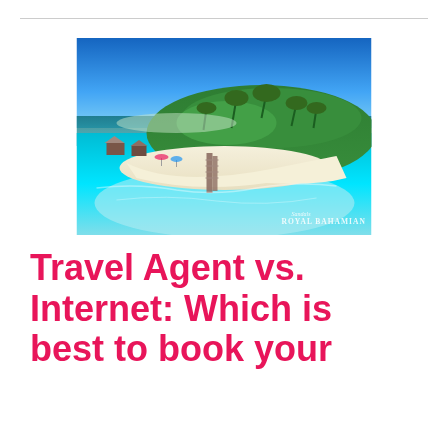[Figure (photo): Aerial view of a tropical resort island with white sand beach, palm trees, turquoise water, and a pier. Watermark reads 'Sandals Royal Bahamian'.]
Travel Agent vs. Internet: Which is best to book your